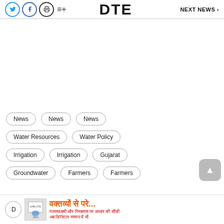DTE  NEXT NEWS >
News
News
News
Water Resources
Water Policy
Irrigation
Irrigation
Gujarat
Groundwater
Farmers
Farmers
D
[Figure (other): Advertisement banner with Hindi text: वक्तव्यों से परे... and sub-text in red]